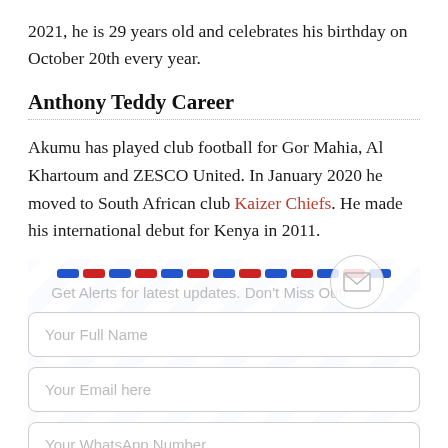2021, he is 29 years old and celebrates his birthday on October 20th every year.
Anthony Teddy Career
Akumu has played club football for Gor Mahia, Al Khartoum and ZESCO United. In January 2020 he moved to South African club Kaizer Chiefs. He made his international debut for Kenya in 2011.
[Figure (infographic): Airmail-style dashed border strip with alternating blue and red dashes, and a circular envelope icon on the right.]
Get Alerts for latest updates. Don't Miss Out!
Your Full Name
Your Email here
Your WhatsApp Number